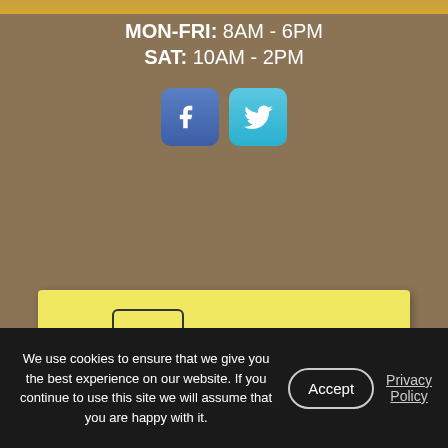MON-FRI: 8AM - 6PM
SAT: 10AM - 2PM
[Figure (illustration): Facebook and Twitter social media icon buttons (blue square icons with f and t letters)]
[Figure (infographic): Yellow banner with hand-drawn brick illustration on the left and text 'Frequently Asked Questions' on the right]
[Figure (photo): Partial view of stacked photo prints at bottom of page]
We use cookies to ensure that we give you the best experience on our website. If you continue to use this site we will assume that you are happy with it.
Accept
Privacy Policy